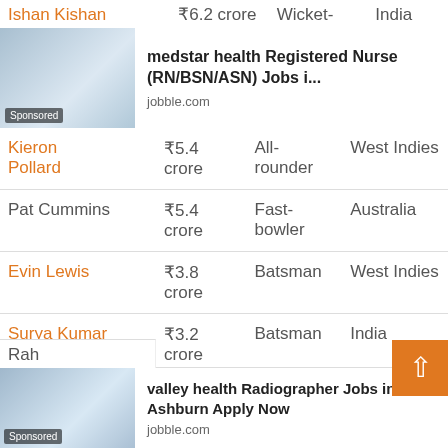[Figure (photo): Sponsored ad banner for medstar health Registered Nurse (RN/BSN/ASN) Jobs from jobble.com]
| Player | Price | Role | Country |
| --- | --- | --- | --- |
| Kieron Pollard | ₹5.4 crore | All-rounder | West Indies |
| Pat Cummins | ₹5.4 crore | Fast-bowler | Australia |
| Evin Lewis | ₹3.8 crore | Batsman | West Indies |
| Surya Kumar Yadav | ₹3.2 crore | Batsman | India |
| Mustafizur Rahman | ₹2.2 crore | Fast-bowler | Bangladesh |
| Ben Cutting | ₹2.2 crore | All-rounder | Australia |
[Figure (photo): Sponsored ad banner for valley health Radiographer Jobs in Ashburn Apply Now from jobble.com]